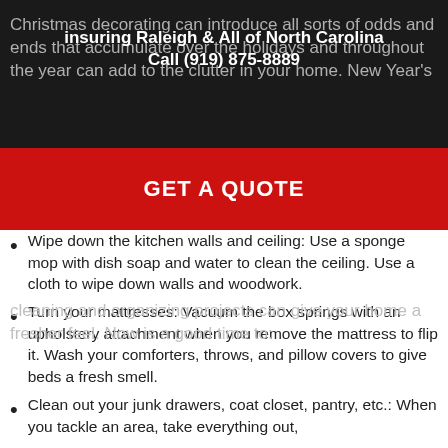insuring Raleigh & All of North Carolina
Call (919) 875-8889
Christmas decorating can introduce all sorts of odds and ends that accumulate over the holidays and throughout the year can add to the clutter in your home. New Year's cleaning and organizing projects can give your home a fresher feel. Now is a good time to:
[Figure (other): Red GET A QUOTE call-to-action button banner overlaying the text]
Wipe down the kitchen walls and ceiling: Use a sponge mop with dish soap and water to clean the ceiling. Use a cloth to wipe down walls and woodwork.
Turn your mattresses: Vacuum the box springs with an upholstery attachment when you remove the mattress to flip it. Wash your comforters, throws, and pillow covers to give beds a fresh smell.
Clean out your junk drawers, coat closet, pantry, etc.: When you tackle an area, take everything out,